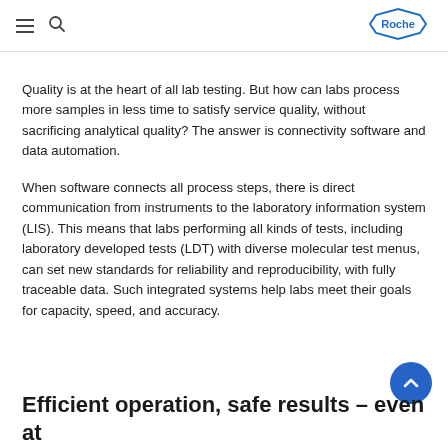Roche
Quality is at the heart of all lab testing. But how can labs process more samples in less time to satisfy service quality, without sacrificing analytical quality? The answer is connectivity software and data automation.
When software connects all process steps, there is direct communication from instruments to the laboratory information system (LIS). This means that labs performing all kinds of tests, including laboratory developed tests (LDT) with diverse molecular test menus, can set new standards for reliability and reproducibility, with fully traceable data. Such integrated systems help labs meet their goals for capacity, speed, and accuracy.
Efficient operation, safe results – even at